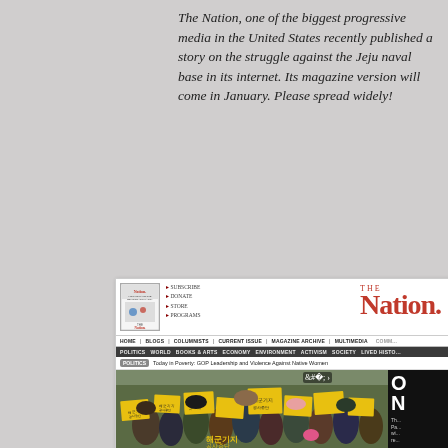The Nation, one of the biggest progressive media in the United States recently published a story on the struggle against the Jeju naval base in its internet. Its magazine version will come in January. Please spread widely!
[Figure (screenshot): Screenshot of The Nation website homepage showing the masthead with logo, navigation bars, a breaking news ticker, a protest photo of people holding yellow Korean-language signs, and bottom section with Blogs and News and Analysis columns.]